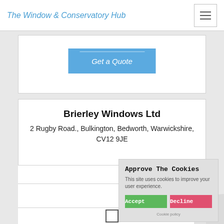The Window & Conservatory Hub
[Figure (screenshot): Get a Quote button — blue rounded rectangle with italic white text]
Brierley Windows Ltd
2 Rugby Road., Bulkington, Bedworth, Warwickshire, CV12 9JE
3.5
[Figure (other): Star rating row showing approximately 2.5 stars (grey stars)]
[Figure (other): Empty checkbox]
Approve The Cookies
This site uses cookies to improve your user experience.
Accept  Decline
Cookie policy